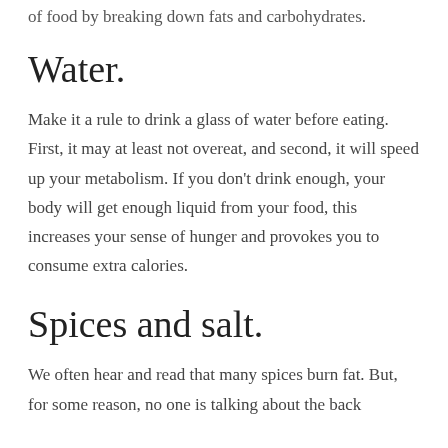of food by breaking down fats and carbohydrates.
Water.
Make it a rule to drink a glass of water before eating. First, it may at least not overeat, and second, it will speed up your metabolism. If you don't drink enough, your body will get enough liquid from your food, this increases your sense of hunger and provokes you to consume extra calories.
Spices and salt.
We often hear and read that many spices burn fat. But, for some reason, no one is talking about the back